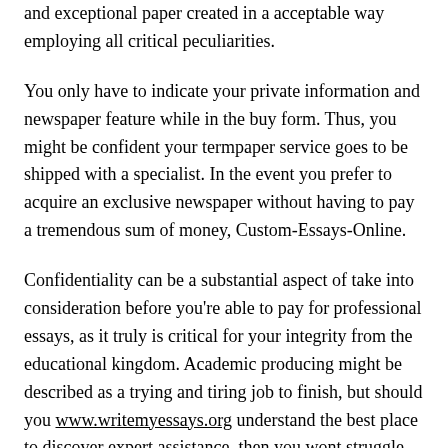and exceptional paper created in a acceptable way employing all critical peculiarities.
You only have to indicate your private information and newspaper feature while in the buy form. Thus, you might be confident your termpaper service goes to be shipped with a specialist. In the event you prefer to acquire an exclusive newspaper without having to pay a tremendous sum of money, Custom-Essays-Online.
Confidentiality can be a substantial aspect of take into consideration before you're able to pay for professional essays, as it truly is critical for your integrity from the educational kingdom. Academic producing might be described as a trying and tiring job to finish, but should you www.writemyessays.org understand the best place to discover expert assistance, then you wont struggle anymore.
A number of those student-clients initially seem very concerned